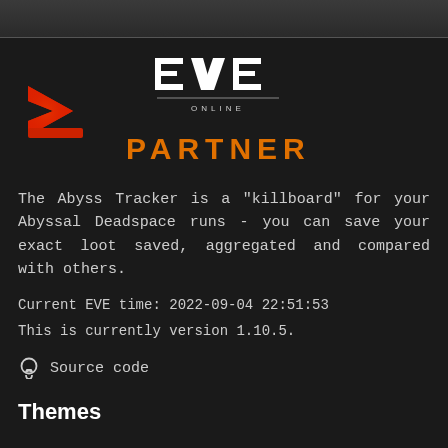[Figure (logo): Dark top navigation bar]
[Figure (logo): Abyss Tracker logo (red angular arrow icon) alongside EVE Online Partner logo and orange PARTNER text]
The Abyss Tracker is a "killboard" for your Abyssal Deadspace runs - you can save your exact loot saved, aggregated and compared with others.
Current EVE time: 2022-09-04 22:51:53
This is currently version 1.10.5.
Source code
Themes